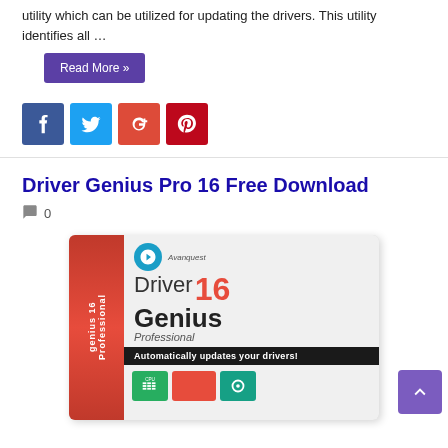utility which can be utilized for updating the drivers. This utility identifies all …
Read More »
[Figure (infographic): Social sharing buttons: Facebook (blue), Twitter (light blue), Google+ (red), Pinterest (red)]
Driver Genius Pro 16 Free Download
0
[Figure (photo): Driver Genius 16 Professional software box by Avanquest showing 'Automatically updates your drivers!' with CPU, red, and teal icon tiles]